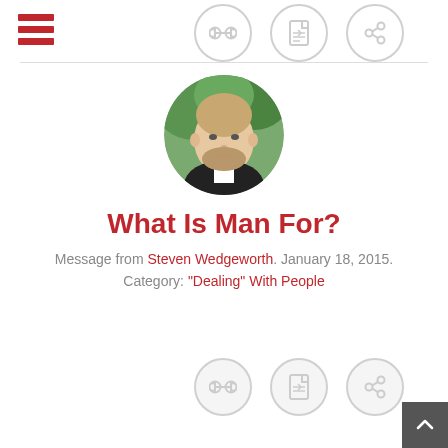Navigation header with hamburger menu and icons
[Figure (photo): Circular profile photo of Steven Wedgeworth, a man with light brown hair and beard, wearing a white collar, with green foliage background]
What Is Man For?
Message from Steven Wedgeworth. January 18, 2015. Category: "Dealing" With People